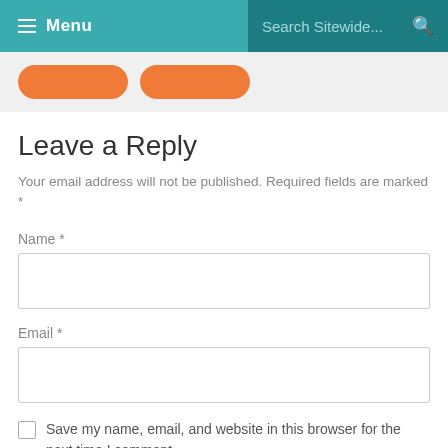Menu   Search Sitewide...
Leave a Reply
Your email address will not be published. Required fields are marked *
Name *
Email *
Save my name, email, and website in this browser for the next time I comment